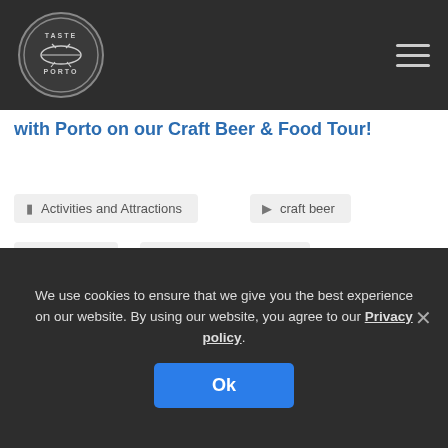Taste Porto — navigation header with logo and hamburger menu
with Porto on our Craft Beer & Food Tour!
Activities and Attractions
craft beer
Food Tour
portuguese craft beer
Taste Porto
Discover Porto's food secrets and
We use cookies to ensure that we give you the best experience on our website. By using our website, you agree to our Privacy policy.
Ok